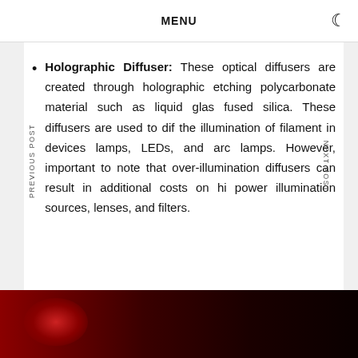MENU
Holographic Diffuser: These optical diffusers are created through holographic etching polycarbonate material such as liquid glass fused silica. These diffusers are used to diffuse the illumination of filament in devices lamps, LEDs, and arc lamps. However, important to note that over-illumination diffusers can result in additional costs on high power illumination sources, lenses, and filters.
[Figure (photo): Dark photograph with red/crimson glow or light source on dark background]